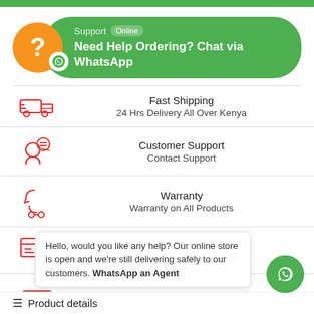[Figure (infographic): Green top bar]
[Figure (infographic): WhatsApp support banner with orange circle question mark, green pill shape. Text: Support Online, Need Help Ordering? Chat via WhatsApp]
Fast Shipping
24 Hrs Delivery All Over Kenya
Customer Support
Contact Support
Warranty
Warranty on All Products
Secure Payment
Pay Via Mpesa & Bank Transfer
Largest Range
Hello, would you like any help? Our online store is open and we're still delivering safely to our customers. WhatsApp an Agent
Product details